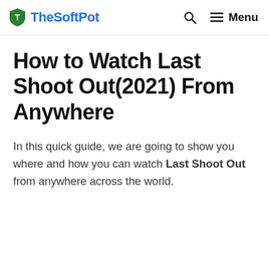TheSoftPot  🔍  ≡ Menu
How to Watch Last Shoot Out(2021) From Anywhere
In this quick guide, we are going to show you where and how you can watch Last Shoot Out from anywhere across the world.